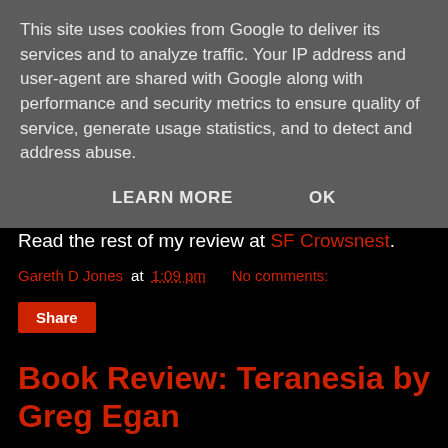This site uses cookies from Google to deliver its services and to analyze traffic. Your IP address and user-agent are shared with Google along with performance and security metrics to ensure quality of service, generate usage statistics, and to detect and address abuse.
LEARN MORE   OK
Read the rest of my review at SF Crowsnest.
Gareth D Jones at 1:09 pm   No comments:
Share
Book Review: Teranesia by Greg Egan
[Figure (photo): Book cover of Teranesia by Greg Egan showing the author's name GREG EGAN in large stone/metallic embossed letters]